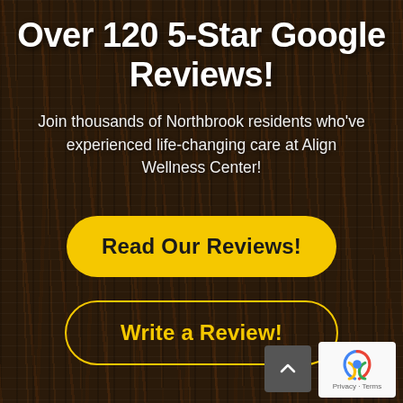Over 120 5-Star Google Reviews!
Join thousands of Northbrook residents who've experienced life-changing care at Align Wellness Center!
Read Our Reviews!
Write a Review!